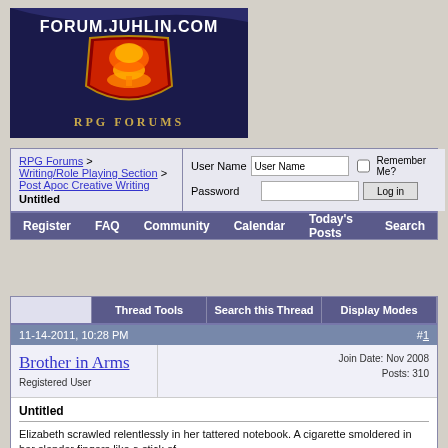[Figure (screenshot): Forum.juhlin.com RPG Forums banner logo with mushroom cloud shield graphic on dark blue background]
RPG Forums > Writing/Role Playing Section > Post Apoc Creative Writing | User Name | Remember Me? | Password | Log in | Register | FAQ | Community | Calendar | Today's Posts | Search
Thread Tools | Search this Thread | Display Modes
11-14-2011, 10:28 PM  #1
Brother in Arms
Registered User
Join Date: Nov 2008
Posts: 310
Untitled
Elizabeth scrawled relentlessly in her tattered notebook. A cigarette smoldered in her slender fingers like a stick of